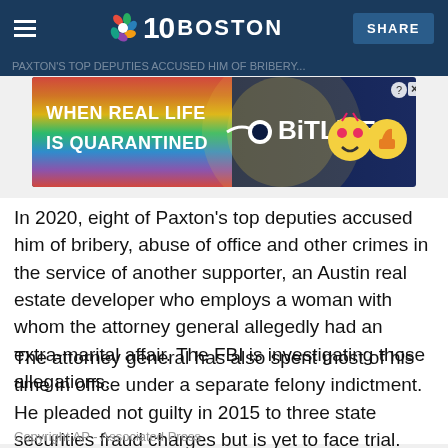NBC 10 BOSTON | SHARE
[Figure (screenshot): BitLife advertisement banner: 'WHEN REAL LIFE IS QUARANTINED' with rainbow background and BitLife branding with emoji characters]
In 2020, eight of Paxton's top deputies accused him of bribery, abuse of office and other crimes in the service of another supporter, an Austin real estate developer who employs a woman with whom the attorney general allegedly had an extra-marital affair. The FBI is investigating those allegations.
The attorney general has also spent most of his time in office under a separate felony indictment. He pleaded not guilty in 2015 to three state securities fraud charges but is yet to face trial.
Copyright AP - Associated Press